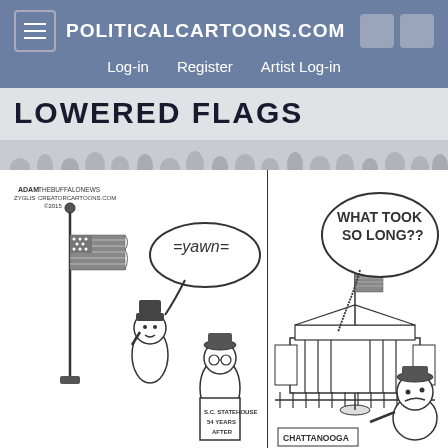POLITICALCARTOONS.COM — Log-in   Register   Artist Log-in
LOWERED FLAGS
[Figure (illustration): Political cartoon by Adam Zyglis (The Buffalo News, Creators Syndicate, 2015) titled 'Lowered Flags'. Left panel: A person salutes a lowered American flag on a flagpole while another person reads a newspaper titled 'S.C. Statehouse 54 Years After...' with a speech bubble saying '=Yawn='. Right panel: The White House with a flag at half-staff, and an angry figure labeled 'Chattanooga' with a speech bubble saying 'WHAT TOOK SO LONG??' The cartoon comments on the lowering of flags in response to tragedies.]